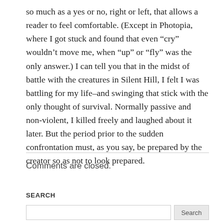so much as a yes or no, right or left, that allows a reader to feel comfortable. (Except in Photopia, where I got stuck and found that even “cry” wouldn’t move me, when “up” or “fly” was the only answer.) I can tell you that in the midst of battle with the creatures in Silent Hill, I felt I was battling for my life–and swinging that stick with the only thought of survival. Normally passive and non-violent, I killed freely and laughed about it later. But the period prior to the sudden confrontation must, as you say, be prepared by the creator so as not to look prepared.
Comments are closed.
SEARCH